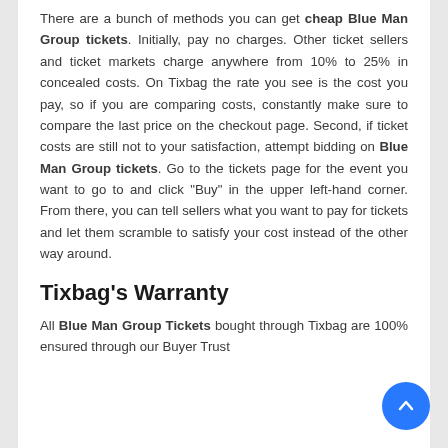There are a bunch of methods you can get cheap Blue Man Group tickets. Initially, pay no charges. Other ticket sellers and ticket markets charge anywhere from 10% to 25% in concealed costs. On Tixbag the rate you see is the cost you pay, so if you are comparing costs, constantly make sure to compare the last price on the checkout page. Second, if ticket costs are still not to your satisfaction, attempt bidding on Blue Man Group tickets. Go to the tickets page for the event you want to go to and click "Buy" in the upper left-hand corner. From there, you can tell sellers what you want to pay for tickets and let them scramble to satisfy your cost instead of the other way around.
Tixbag's Warranty
All Blue Man Group Tickets bought through Tixbag are 100% ensured through our Buyer Trust